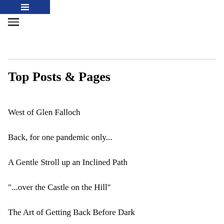Top Posts & Pages
West of Glen Falloch
Back, for one pandemic only...
A Gentle Stroll up an Inclined Path
"...over the Castle on the Hill"
The Art of Getting Back Before Dark
The Diary of Bertie "Wrong-Hill" Brown - an extract